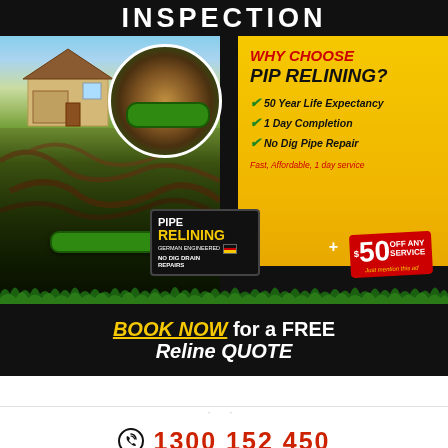INSPECTION
[Figure (infographic): Pipe relining advertisement showing house with tree roots damaging underground pipes, circular inset of green pipe, PIPE RELINING badge, WHY CHOOSE PIP RELINING checklist on yellow background, $50 OFF coupon, BOOK NOW for a FREE Reline QUOTE call to action]
WHY CHOOSE PIP RELINING?
50 Year Life Expectancy
1 Day Completion
No Dig Pipe Repair
Fast, Affordable, 1 day service
BOOK NOW for a FREE Reline QUOTE
1300 152 450